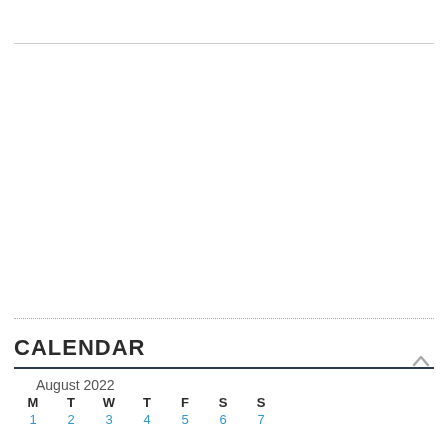CALENDAR
| M | T | W | T | F | S | S |
| --- | --- | --- | --- | --- | --- | --- |
| 1 | 2 | 3 | 4 | 5 | 6 | 7 |